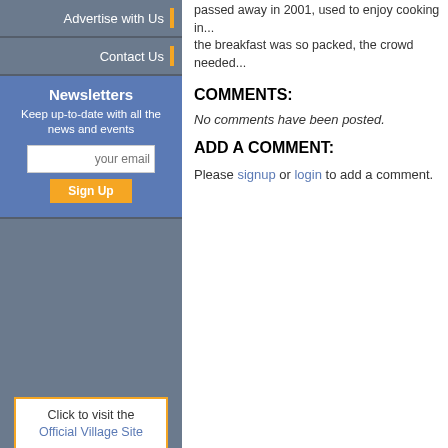Advertise with Us
Contact Us
Newsletters
Keep up-to-date with all the news and events
Click to visit the Official Village Site
Click to visit the Official Town Site
[Figure (logo): Cornwall Public Library logo with green fan/book design and text CORNWALL PUBLIC LIBRARY with COMMUNITY PROGRESS LEARNING around the circle]
Latest Newsletter
passed away in 2001, used to enjoy cooking in... the breakfast was so packed, the crowd needed...
COMMENTS:
No comments have been posted.
ADD A COMMENT:
Please signup or login to add a comment.